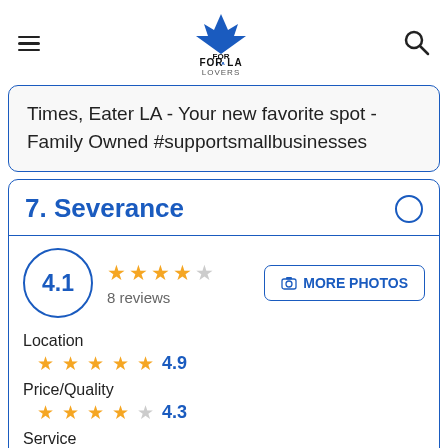FOR LA LOVERS
Times, Eater LA - Your new favorite spot - Family Owned #supportsmallbusinesses
7. Severance
4.1 rating, 8 reviews
Location 4.9
Price/Quality 4.3
Service 4.8
Parking